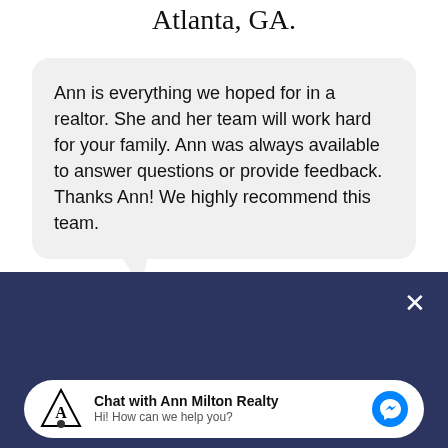Atlanta, GA.
Ann is everything we hoped for in a realtor. She and her team will work hard for your family. Ann was always available to answer questions or provide feedback. Thanks Ann! We highly recommend this team.
Discover your home value, and sell top dollar before the market shifts!
Chat with Ann Milton Realty
Hi! How can we help you?